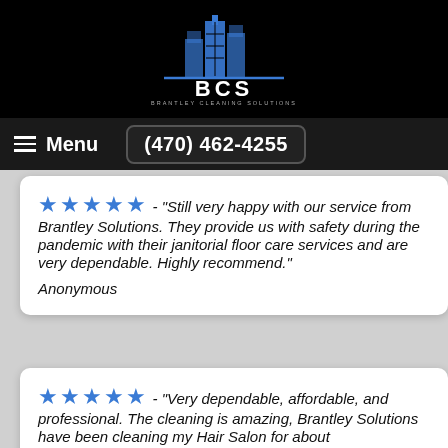[Figure (logo): BCS Brantley Cleaning Solutions logo with blue building icons and stylized BCS text on black background]
Menu  (470) 462-4255
★★★★★ - "Still very happy with our service from Brantley Solutions. They provide us with safety during the pandemic with their janitorial floor care services and are very dependable. Highly recommend."
Anonymous
★★★★★ - "Very dependable, affordable, and professional. The cleaning is amazing, Brantley Solutions have been cleaning my Hair Salon for about